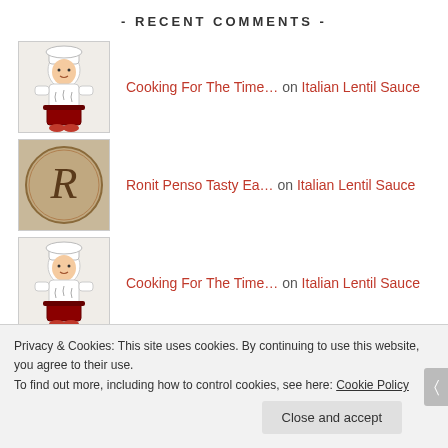- RECENT COMMENTS -
Cooking For The Time… on Italian Lentil Sauce
Ronit Penso Tasty Ea… on Italian Lentil Sauce
Cooking For The Time… on Italian Lentil Sauce
Ronit Penso Tasty Ea… on Italian Lentil Sauce
Cooking For The Time… on Italian Lentil Sauce
Privacy & Cookies: This site uses cookies. By continuing to use this website, you agree to their use. To find out more, including how to control cookies, see here: Cookie Policy
Close and accept